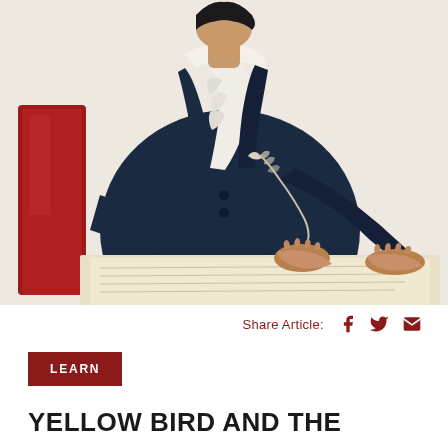[Figure (illustration): Historical portrait illustration of a man seated at a desk, wearing a dark navy blue jacket and white ruffled shirt collar, holding a quill pen in one hand and resting the other hand on papers. A red chair back is visible on the left. The background is a pale cream/beige color.]
Share Article:
Learn
YELLOW BIRD AND THE